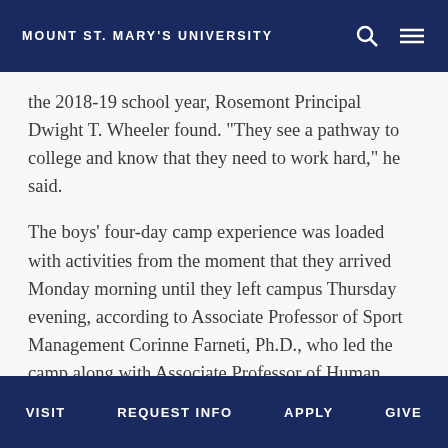MOUNT ST. MARY'S UNIVERSITY
the 2018-19 school year, Rosemont Principal Dwight T. Wheeler found. "They see a pathway to college and know that they need to work hard," he said.
The boys' four-day camp experience was loaded with activities from the moment that they arrived Monday morning until they left campus Thursday evening, according to Associate Professor of Sport Management Corinne Farneti, Ph.D., who led the camp along with Associate Professor of Human Services Tim Wolfe and Director of Student and Faculty Engagement and Innovative Curriculum Bill Prudden.
The middle schoolers participated in nature-based art classes with Professor Elizabeth Holtry, M.F.A., in the art
VISIT   REQUEST INFO   APPLY   GIVE